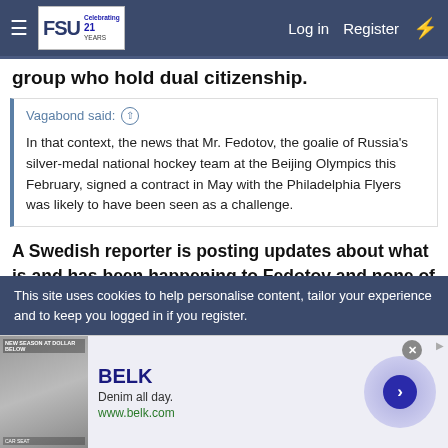FSU forum navigation bar with Log in, Register links
group who hold dual citizenship.
Vagabond said: ↑

In that context, the news that Mr. Fedotov, the goalie of Russia's silver-medal national hockey team at the Beijing Olympics this February, signed a contract in May with the Philadelphia Flyers was likely to have been seen as a challenge.
A Swedish reporter is posting updates about what is and has been happening to Fedotov and none of them are positive. Agents are now telling their clients not to return to Russia this summer. https://twitter.com/search?q=@karl_khl&src=typed_query
This site uses cookies to help personalise content, tailor your experience and to keep you logged in if you register.
[Figure (screenshot): Advertisement for BELK: Denim all day. www.belk.com with a photo and circular arrow button.]